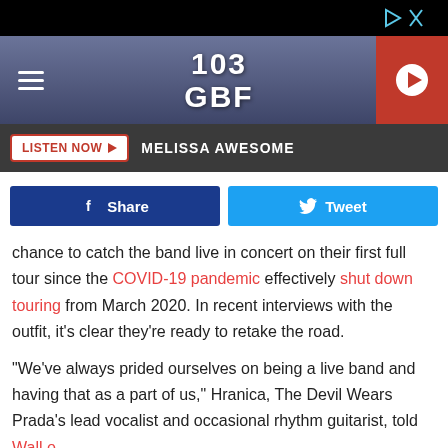[Figure (screenshot): Top ad bar with black background and ad control icons (play and close)]
[Figure (logo): 103 GBF radio station header with hamburger menu, logo, and red play button]
LISTEN NOW ▶  MELISSA AWESOME
[Figure (infographic): Social share buttons: Facebook Share and Twitter Tweet]
chance to catch the band live in concert on their first full tour since the COVID-19 pandemic effectively shut down touring from March 2020. In recent interviews with the outfit, it's clear they're ready to retake the road.
"We've always prided ourselves on being a live band and having that as a part of us," Hranica, The Devil Wears Prada's lead vocalist and occasional rhythm guitarist, told Wall o... at some...
[Figure (screenshot): Bottom ad overlay with light gray background and ad control icons]